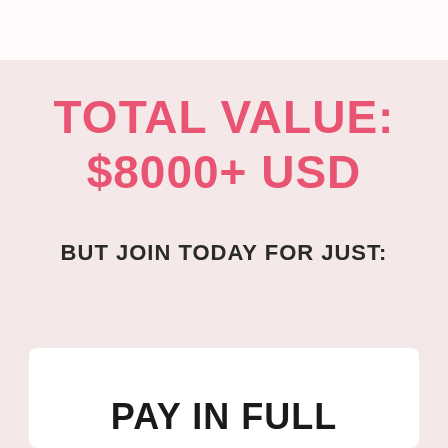TOTAL VALUE: $8000+ USD
BUT JOIN TODAY FOR JUST:
PAY IN FULL